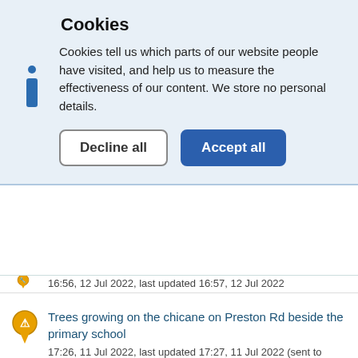Cookies
Cookies tell us which parts of our website people have visited, and help us to measure the effectiveness of our content. We store no personal details.
Decline all | Accept all
16:56, 12 Jul 2022, last updated 16:57, 12 Jul 2022
Trees growing on the chicane on Preston Rd beside the primary school
17:26, 11 Jul 2022, last updated 17:27, 11 Jul 2022 (sent to both)